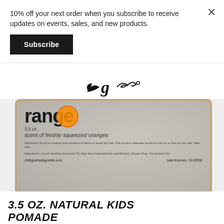10% off your next order when you subscribe to receive updates on events, sales, and new products.
Subscribe
[Figure (photo): Close-up photo of a tin of 3.5 oz. Natural Kids Pomade with orange scent. The tin label reads 'orange', '3.5 oz.', 'scent of freshly squeezed oranges', with ingredient and address details.]
3.5 OZ. NATURAL KIDS POMADE
$16.00